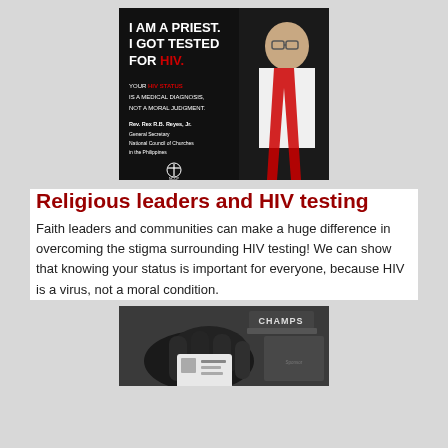[Figure (photo): HIV testing awareness poster featuring Rev. Rex R.B. Reyes, Jr., General Secretary, National Council of Churches in the Philippines. Text on poster reads: 'I AM A PRIEST. I GOT TESTED FOR HIV.' and 'YOUR HIV STATUS IS A MEDICAL DIAGNOSIS, NOT A MORAL JUDGMENT.' with the NCCP logo.]
Religious leaders and HIV testing
Faith leaders and communities can make a huge difference in overcoming the stigma surrounding HIV testing! We can show that knowing your status is important for everyone, because HIV is a virus, not a moral condition.
[Figure (photo): Black and white close-up photograph of hands, with a 'CHAMPS' branded item visible, related to HIV testing.]